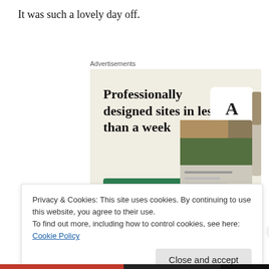It was such a lovely day off.
[Figure (screenshot): Advertisement banner for website design service. Headline: 'Professionally designed sites in less than a week'. Green 'Explore options' button. Shows mock website screenshots on right side.]
Privacy & Cookies: This site uses cookies. By continuing to use this website, you agree to their use.
To find out more, including how to control cookies, see here: Cookie Policy
Close and accept